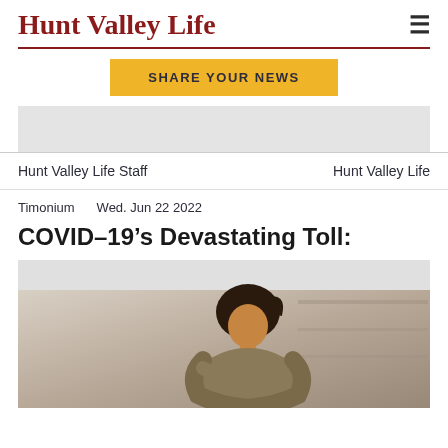Hunt Valley Life
SHARE YOUR NEWS
[Figure (other): Gray advertisement placeholder rectangle]
Hunt Valley Life Staff    Hunt Valley Life
Timonium    Wed. Jun 22 2022
COVID-19's Devastating Toll:
[Figure (photo): A woman with curly dark hair in a ponytail hugging herself, looking down, photographed in a warm indoor setting with blurred shelving in the background.]